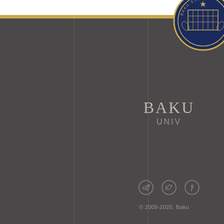[Figure (logo): Baku State University circular seal/emblem partially visible at top right corner, dark navy blue with gold details]
BAKU
UNIV
[Figure (infographic): Three social media icons: Telegram (paper plane), Twitter (bird), Facebook (f) shown as circular outlines in grey]
© 2009-2020, Baku